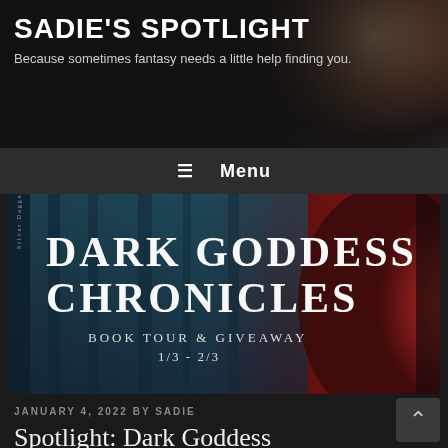SADIE'S SPOTLIGHT
Because sometimes fantasy needs a little help finding you.
≡ Menu
[Figure (illustration): Dark Goddess Chronicles Book Tour & Giveaway banner with text 'DARK GODDESS CHRONICLES BOOK TOUR & GIVEAWAY 1/3 - 2/3' on a teal/dark background with a red-cloaked figure on the right. Silver Dagger Book Tours label on the left side.]
JANUARY 4, 2022 BY SADIE
Spotlight: Dark Goddess Chronicles + Giveaway